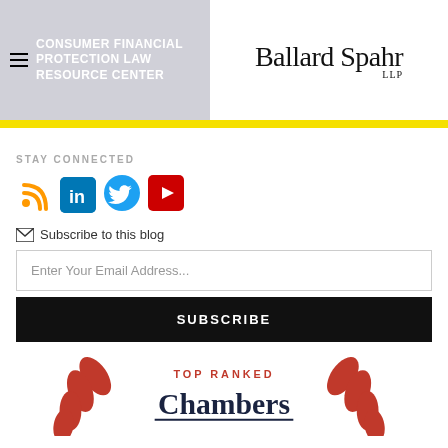CONSUMER FINANCIAL PROTECTION LAW RESOURCE CENTER | Ballard Spahr LLP
STAY CONNECTED
[Figure (screenshot): Social media icons: RSS feed (orange), LinkedIn (blue), Twitter (blue), YouTube (red)]
Subscribe to this blog
Enter Your Email Address...
SUBSCRIBE
[Figure (logo): TOP RANKED Chambers logo with red laurel wreath decorations on left and right sides]